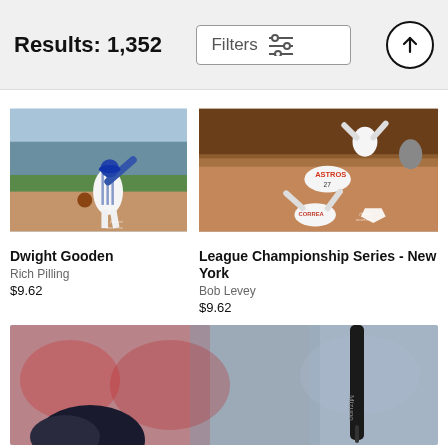Results: 1,352
[Figure (photo): Baseball player Dwight Gooden in Mets uniform mid-pitch on field]
[Figure (photo): League Championship Series - New York, Houston Astros players sliding into home plate celebration]
Dwight Gooden
Rich Pilling
$9.62
League Championship Series - New York
Bob Levey
$9.62
[Figure (photo): Baseball batter close-up with bat visible against blurred crowd background]